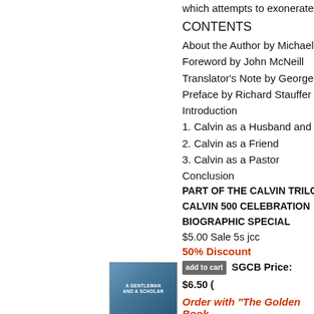which attempts to exonerate the
CONTENTS
About the Author by Michael Ha
Foreword by John McNeill
Translator's Note by George Sh
Preface by Richard Stauffer
Introduction
1. Calvin as a Husband and Fa
2. Calvin as a Friend
3. Calvin as a Pastor
Conclusion
PART OF THE CALVIN TRILOG
CALVIN 500 CELEBRATION
BIOGRAPHIC SPECIAL
$5.00 Sale 5s jcc
50% Discount
add to cart  SGCB Price: $6.50
Order with "The Golden Book"
add to cart  SGCB Price: $29.95
Over 50% Discount
[Figure (photo): Book cover: A Gentleman and a Scholar]
A GENTLEMAN & A SCH
Memoir of James Petigru Bo